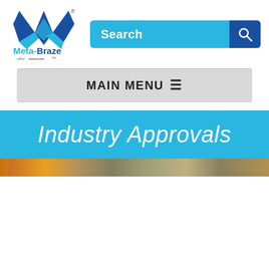[Figure (logo): Meta-Braze vbc group logo with fox/diamond icon in blue and dark blue, registered trademark symbol]
[Figure (screenshot): Search bar with light blue background, white text 'Search', and dark blue search icon button on the right]
[Figure (screenshot): Navigation bar with grey background showing MAIN MENU with hamburger icon]
Industry Approvals
[Figure (photo): Partial photo strip showing industrial/metalworking scene with warm orange and gold tones]